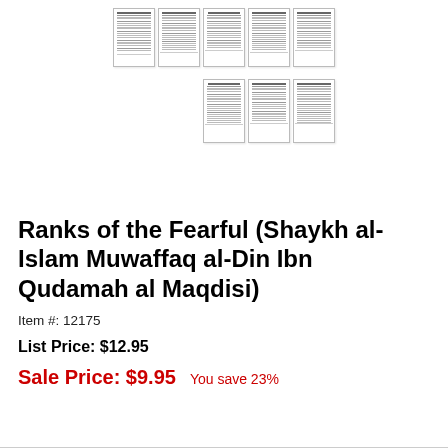[Figure (illustration): Preview thumbnails of multiple document pages arranged in two rows, showing the interior pages of the book 'Ranks of the Fearful']
Ranks of the Fearful (Shaykh al-Islam Muwaffaq al-Din Ibn Qudamah al Maqdisi)
Item #: 12175
List Price: $12.95
Sale Price: $9.95   You save 23%